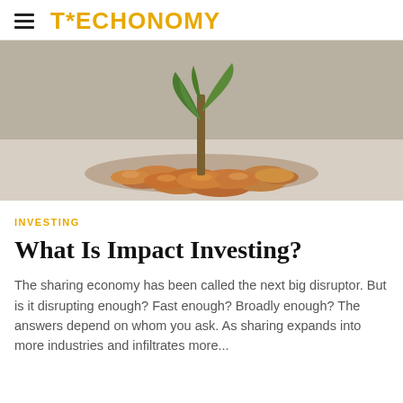TECHONOMY
[Figure (photo): A small green plant seedling growing out of a pile of copper coins on a light surface, symbolizing financial growth and impact investing.]
INVESTING
What Is Impact Investing?
The sharing economy has been called the next big disruptor. But is it disrupting enough? Fast enough? Broadly enough? The answers depend on whom you ask. As sharing expands into more industries and infiltrates more...